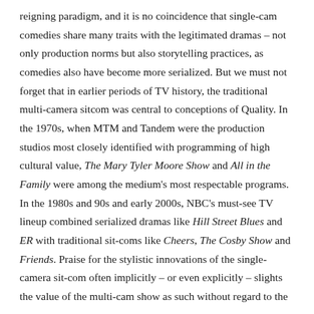reigning paradigm, and it is no coincidence that single-cam comedies share many traits with the legitimated dramas – not only production norms but also storytelling practices, as comedies also have become more serialized. But we must not forget that in earlier periods of TV history, the traditional multi-camera sitcom was central to conceptions of Quality. In the 1970s, when MTM and Tandem were the production studios most closely identified with programming of high cultural value, The Mary Tyler Moore Show and All in the Family were among the medium's most respectable programs. In the 1980s and 90s and early 2000s, NBC's must-see TV lineup combined serialized dramas like Hill Street Blues and ER with traditional sit-coms like Cheers, The Cosby Show and Friends. Praise for the stylistic innovations of the single-camera sit-com often implicitly – or even explicitly – slights the value of the multi-cam show as such without regard to the